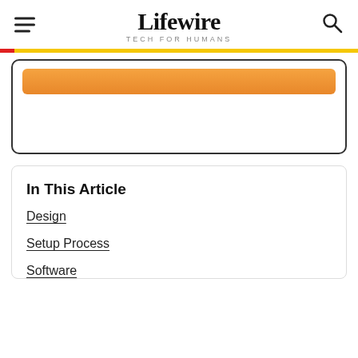Lifewire TECH FOR HUMANS
[Figure (screenshot): A UI card with an orange button and dark border, partially visible, with a red and yellow top strip above it]
In This Article
Design
Setup Process
Software